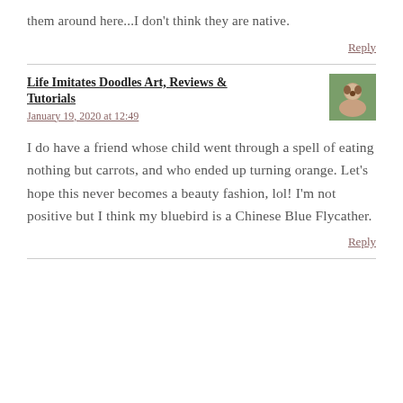them around here...I don't think they are native.
Reply
Life Imitates Doodles Art, Reviews & Tutorials
January 19, 2020 at 12:49
[Figure (photo): Small circular avatar photo showing a person, green and pink tones]
I do have a friend whose child went through a spell of eating nothing but carrots, and who ended up turning orange. Let's hope this never becomes a beauty fashion, lol! I'm not positive but I think my bluebird is a Chinese Blue Flycather.
Reply